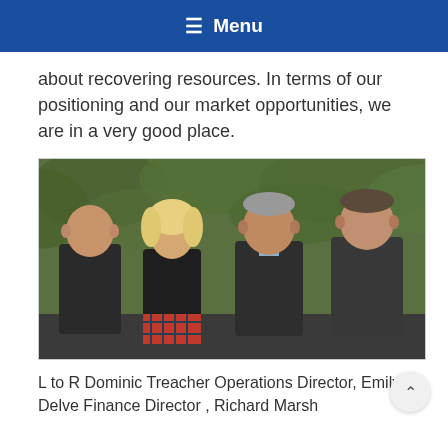≡ Menu
about recovering resources. In terms of our positioning and our market opportunities, we are in a very good place.
[Figure (photo): Four people standing outdoors in front of green foliage, all wearing dark company branded fleeces/jumpers. From left to right: a bald man, a blonde woman in a tartan skirt, an older man, and a tall man on the right.]
L to R Dominic Treacher Operations Director, Emily Delve Finance Director , Richard Marsh